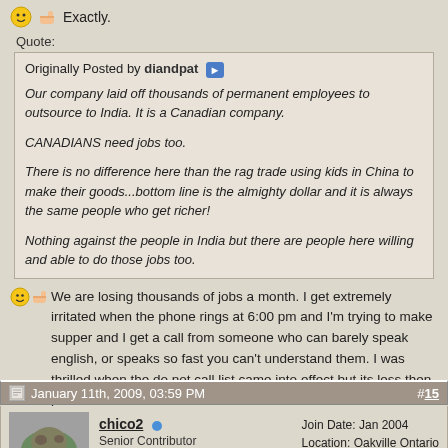Exactly.
Quote:
Originally Posted by diandpat
Our company laid off thousands of permanent employees to outsource to India. It is a Canadian company.

CANADIANS need jobs too.

There is no difference here than the rag trade using kids in China to make their goods...bottom line is the almighty dollar and it is always the same people who get richer!

Nothing against the people in India but there are people here willing and able to do those jobs too.
We are losing thousands of jobs a month. I get extremely irritated when the phone rings at 6:00 pm and I'm trying to make supper and I get a call from someone who can barely speak english, or speaks so fast you can't understand them. I was thrilled when the do not call list came into effect but its less then perfect.
January 11th, 2009, 03:59 PM
#15
chico2
Senior Contributor
Join Date: Jan 2004
Location: Oakville Ontario
Posts: 26,591